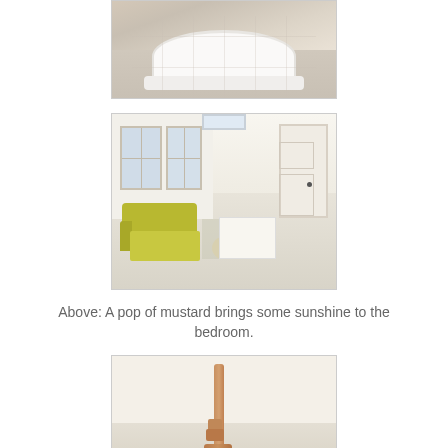[Figure (photo): Close-up photo of the base of a freestanding white bathtub on light-colored tile floor]
[Figure (photo): Bright bedroom with mustard/yellow-green sofa chairs on left, white painted floor, open door on right, natural light from windows, white bed visible in background]
Above: A pop of mustard brings some sunshine to the bedroom.
[Figure (photo): Minimalist room with wooden mallet or croquet mallet propped against a light-colored wall]